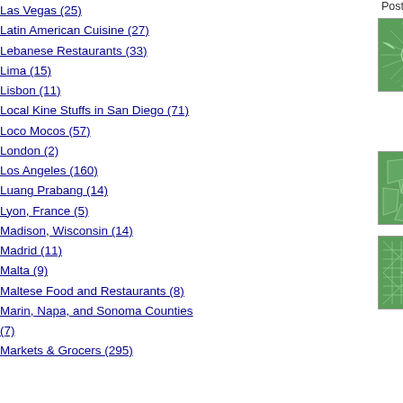Las Vegas (25)
Latin American Cuisine (27)
Lebanese Restaurants (33)
Lima (15)
Lisbon (11)
Local Kine Stuffs in San Diego (71)
Loco Mocos (57)
London (2)
Los Angeles (160)
Luang Prabang (14)
Lyon, France (5)
Madison, Wisconsin (14)
Madrid (11)
Malta (9)
Maltese Food and Restaurants (8)
Marin, Napa, and Sonoma Counties (7)
Markets & Grocers (295)
Posted by: Kirk | Saturday, 29 July 20...
[Figure (illustration): Green spiral/sunburst pattern avatar image]
Hi Kirk! I was browsing your w... decided to give Dao Son a try ba... being a silent browser of your w... tell you that your site has been a... whenever we want to be advent... great work and thank you!
Posted by: Hannah | Thursday, 08 Fe...
[Figure (illustration): Green voronoi/cell pattern avatar image]
Hi Hannah - Thanks so much fo... Son, and have some use for our ...
Posted by: Kirk | Thursday, 08 Februa...
[Figure (illustration): Green geometric/grid star pattern avatar image]
Hi Kirk! I just tried this place fo... endlessly, and it was fantastic. T... ever had, I was eating them in m... rice vermicelli with shrimp, and... some takeout from their regular... chicken sounds particularly goo...